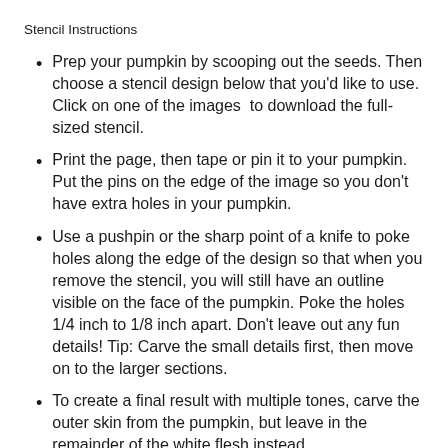Stencil Instructions
Prep your pumpkin by scooping out the seeds. Then choose a stencil design below that you’d like to use. Click on one of the images  to download the full-sized stencil.
Print the page, then tape or pin it to your pumpkin. Put the pins on the edge of the image so you don’t have extra holes in your pumpkin.
Use a pushpin or the sharp point of a knife to poke holes along the edge of the design so that when you remove the stencil, you will still have an outline visible on the face of the pumpkin. Poke the holes 1/4 inch to 1/8 inch apart. Don’t leave out any fun details! Tip: Carve the small details first, then move on to the larger sections.
To create a final result with multiple tones, carve the outer skin from the pumpkin, but leave in the remainder of the white flesh instead.